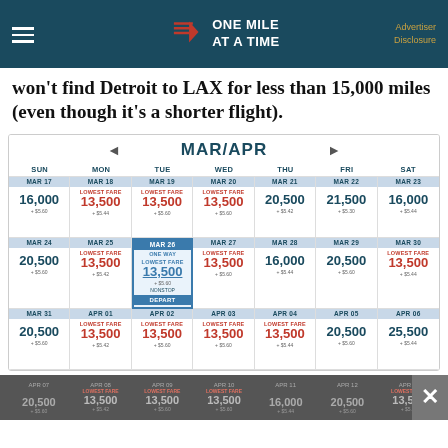[Figure (logo): One Mile At A Time blog header with navigation hamburger menu and logo]
won't find Detroit to LAX for less than 15,000 miles (even though it's a shorter flight).
| SUN | MON | TUE | WED | THU | FRI | SAT |
| --- | --- | --- | --- | --- | --- | --- |
| MAR 17 | MAR 18 | MAR 19 | MAR 20 | MAR 21 | MAR 22 | MAR 23 |
| 16,000
+$5.60 | LOWEST FARE
13,500
+$5.44 | LOWEST FARE
13,500
+$5.60 | LOWEST FARE
13,500
+$5.60 | 20,500
+$5.42 | 21,500
+$5.30 | 16,000
+$5.44 |
| MAR 24 | MAR 25 | MAR 26 | MAR 27 | MAR 28 | MAR 29 | MAR 30 |
| 20,500
+$5.60 | LOWEST FARE
13,500
+$5.42 | MAR 26
ONE WAY
LOWEST FARE
13,500
+$5.60
NONSTOP
DEPART | LOWEST FARE
13,500
+$5.60 | 16,000
+$5.44 | 20,500
+$5.60 | LOWEST FARE
13,500
+$5.44 |
| MAR 31 | APR 01 | APR 02 | APR 03 | APR 04 | APR 05 | APR 06 |
| 20,500
+$5.60 | LOWEST FARE
13,500
+$5.42 | LOWEST FARE
13,500
+$5.60 | LOWEST FARE
13,500
+$5.60 | LOWEST FARE
13,500
+$5.44 | 20,500
+$5.60 | 25,500
+$5.44 |